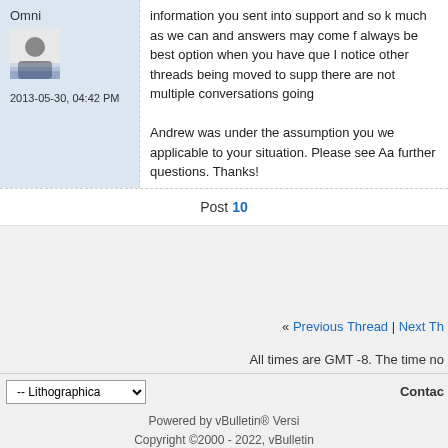Omni
2013-05-30, 04:42 PM
information you sent into support and so k much as we can and answers may come f always be best option when you have que I notice other threads being moved to supp there are not multiple conversations going

Andrew was under the assumption you we applicable to your situation. Please see Aa further questions. Thanks!
Post 10
« Previous Thread | Next Th
All times are GMT -8. The time no
-- Lithographica
Contac
Powered by vBulletin® Versi Copyright ©2000 - 2022, vBulletin